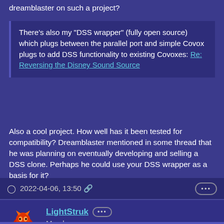dreamblaster on such a project?
There's also my "DSS wrapper" (fully open source) which plugs between the parallel port and simple Covox plugs to add DSS functionality to existing Covoxes: Re: Reversing the Disney Sound Source
Also a cool project. How well has it been tested for compatibility? Dreamblaster mentioned in some thread that he was planning on eventually developing and selling a DSS clone. Perhaps he could use your DSS wrapper as a basis for it?
2022-04-06, 13:50
LightStruk  Member